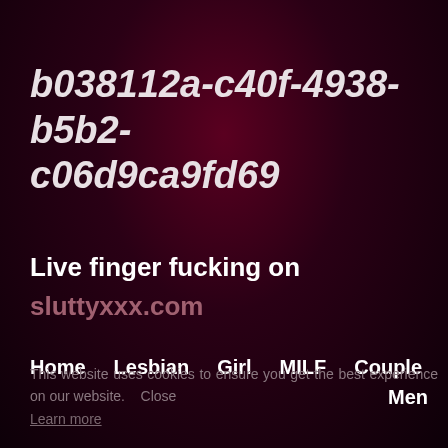b038112a-c40f-4938-b5b2-c06d9ca9fd69
Live finger fucking on sluttyxxx.com
Home    Lesbian    Girl    MILF    Couple Men
This website uses cookies to ensure you get the best experience on our website.    Close Learn more